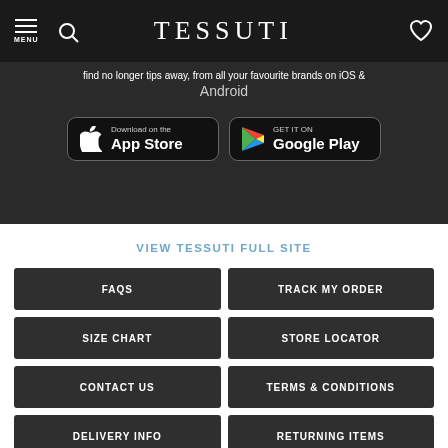TESSUTI
find no longer tips away, from all your favourite brands on iOS & Android
[Figure (screenshot): App Store and Google Play download buttons on dark background]
VIEW TESSUTI FULL SITE
FAQS
TRACK MY ORDER
SIZE CHART
STORE LOCATOR
CONTACT US
TERMS & CONDITIONS
DELIVERY INFO
RETURNING ITEMS
PRIVACY POLICY
COMPETITION TERMS